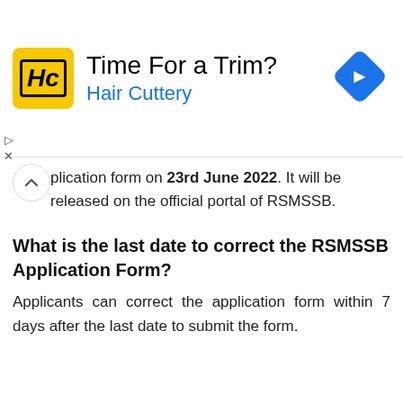[Figure (infographic): Advertisement banner for Hair Cuttery with logo, title 'Time For a Trim?', subtitle 'Hair Cuttery', and navigation arrow icon]
plication form on 23rd June 2022. It will be released on the official portal of RSMSSB.
What is the last date to correct the RSMSSB Application Form?
Applicants can correct the application form within 7 days after the last date to submit the form.